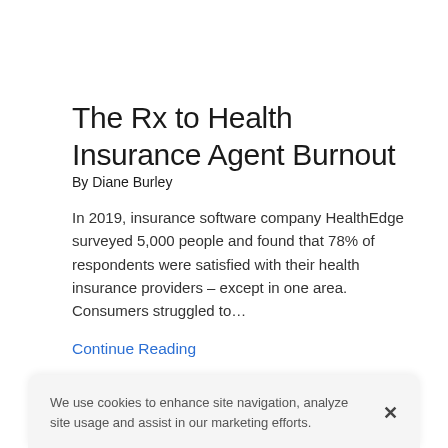The Rx to Health Insurance Agent Burnout
By Diane Burley
In 2019, insurance software company HealthEdge surveyed 5,000 people and found that 78% of respondents were satisfied with their health insurance providers – except in one area. Consumers struggled to…
Continue Reading
We use cookies to enhance site navigation, analyze site usage and assist in our marketing efforts.